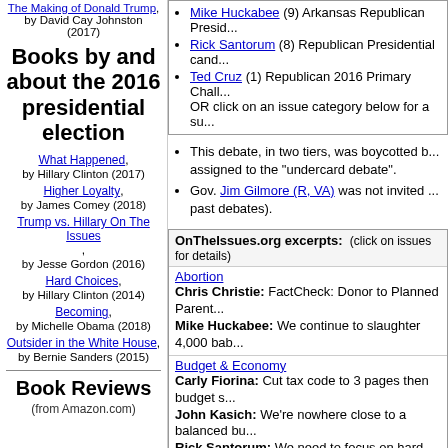The Making of Donald Trump, by David Cay Johnston (2017)
Books by and about the 2016 presidential election
What Happened, by Hillary Clinton (2017)
Higher Loyalty, by James Comey (2018)
Trump vs. Hillary On The Issues, by Jesse Gordon (2016)
Hard Choices, by Hillary Clinton (2014)
Becoming, by Michelle Obama (2018)
Outsider in the White House, by Bernie Sanders (2015)
Book Reviews
(from Amazon.com)
Mike Huckabee (9) Arkansas Republican Presidential candidate
Rick Santorum (8) Republican Presidential candidate
Ted Cruz (1) Republican 2016 Primary Challenger
OR click on an issue category below for a summary
This debate, in two tiers, was boycotted by assigned to the "undercard debate".
Gov. Jim Gilmore (R, VA) was not invited (past debates).
OnTheIssues.org excerpts: (click on issues for details)
Abortion
Chris Christie: FactCheck: Donor to Planned Parent...
Mike Huckabee: We continue to slaughter 4,000 bab...
Budget & Economy
Carly Fiorina: Cut tax code to 3 pages then budget s...
John Kasich: We're nowhere close to a balanced bu...
Rick Santorum: We need to focus on hard workers w...
Civil Rights
Mike Huckabee: Last year 58% of hate crimes were...
Crime
Donald Trump: The police are the most mistreated p...
Environment
Rick Santorum: China creates 5 times US pollution l...
Families & Children